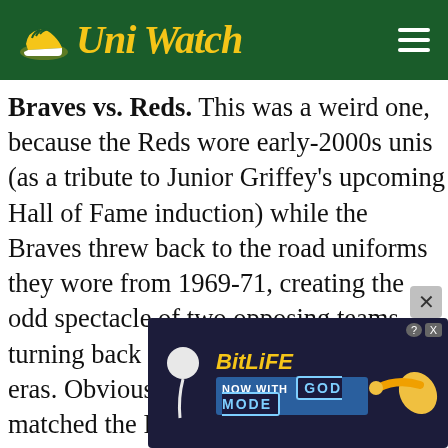Uni Watch
Braves vs. Reds. This was a weird one, because the Reds wore early-2000s unis (as a tribute to Junior Griffey's upcoming Hall of Fame induction) while the Braves threw back to the road uniforms they wore from 1969-71, creating the odd spectacle of two opposing teams turning back to the clock to different eras. Obviously, the Braves couldn't have matched the Reds with an early-2000s look, because Atlanta's uniforms haven't really changed since then, but it was still weird to see the mismatched looks. We've seen plenty of games with only one team throwing back, of course, but how often have we seen two teams wearing throwbacks from separate time frames? It happened fairly often during the NFL's 1994 throwback-o-rama, because different teams were at different points in the teams' respective histories, but I can't recall seeing
[Figure (screenshot): BitLife advertisement overlay with 'NOW WITH GOD MODE' text, yellow and dark blue coloring, with a pointing hand graphic]